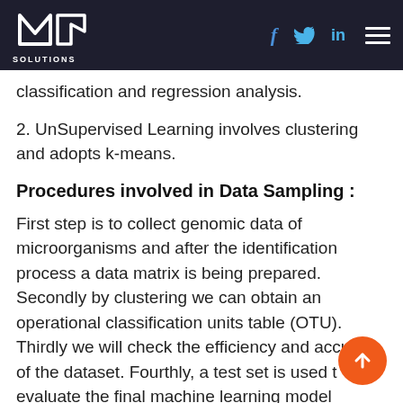MLD SOLUTIONS — social icons and menu
classification and regression analysis.
2. UnSupervised Learning involves clustering and adopts k-means.
Procedures involved in Data Sampling :
First step is to collect genomic data of microorganisms and after the identification process a data matrix is being prepared. Secondly by clustering we can obtain an operational classification units table (OTU). Thirdly we will check the efficiency and accuracy of the dataset. Fourthly, a test set is used to evaluate the final machine learning model